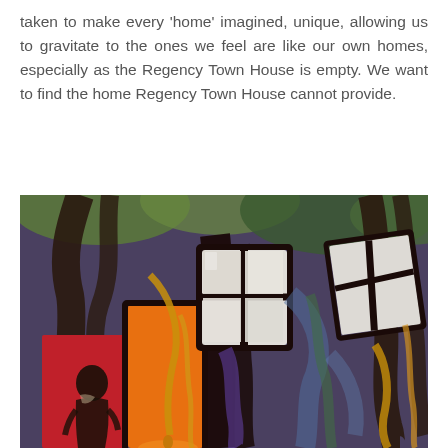taken to make every 'home' imagined, unique, allowing us to gravitate to the ones we feel are like our own homes, especially as the Regency Town House is empty. We want to find the home Regency Town House cannot provide.
[Figure (illustration): An expressionist painting depicting a house-like scene with swirling dark trees, a glowing orange door, white-paned windows, a dark figure of a person in the lower left against a red background, and vibrant swirling colors of blue, green, gold, and purple throughout.]